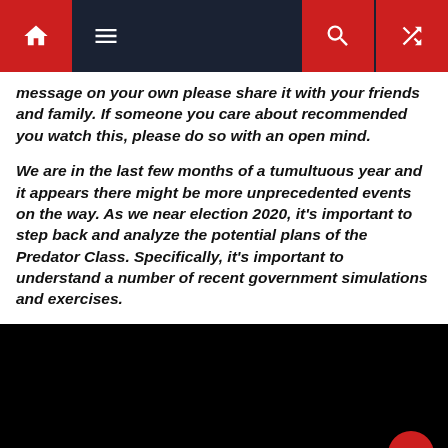Navigation bar with home, menu, search, and shuffle icons
message on your own please share it with your friends and family. If someone you care about recommended you watch this, please do so with an open mind.
We are in the last few months of a tumultuous year and it appears there might be more unprecedented events on the way. As we near election 2020, it’s important to step back and analyze the potential plans of the Predator Class. Specifically, it’s important to understand a number of recent government simulations and exercises.
[Figure (screenshot): Black video player embed area with a red scroll-to-top button in the bottom right corner]